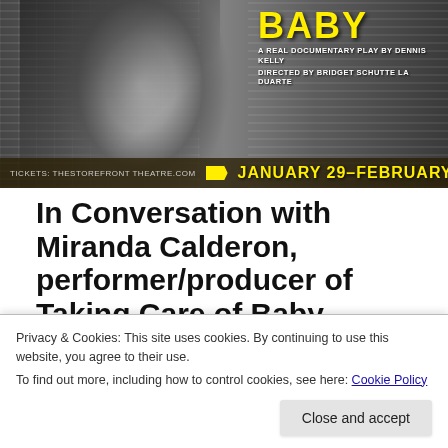[Figure (photo): Theater promotional banner for 'Taking Care of Baby' play. Left side shows black and white photo of a woman's face against newspaper background. Right side shows yellow text 'BABY' and subtitle 'A REAL DOCUMENTARY PLAY BY DENNIS KELLY DIRECTED BY BRIDGET SCHUTTE LA DUARTE'. Bottom bar reads 'TICKETS: THESTOREFRONT THEATRE.COM' with yellow tag icon and 'JANUARY 29–FEBRUARY 14, 2016' in large yellow text.]
In Conversation with Miranda Calderon, performer/producer of Taking Care of Baby
by Bailey Green Taking Care of Baby is a verbatim/documentary style play focusing on the story of Donna McAuliffe, a woman accused of murdering her two
Privacy & Cookies: This site uses cookies. By continuing to use this website, you agree to their use.
To find out more, including how to control cookies, see here: Cookie Policy
Close and accept